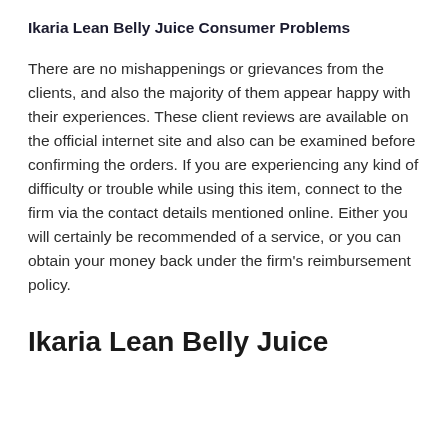Ikaria Lean Belly Juice Consumer Problems
There are no mishappenings or grievances from the clients, and also the majority of them appear happy with their experiences. These client reviews are available on the official internet site and also can be examined before confirming the orders. If you are experiencing any kind of difficulty or trouble while using this item, connect to the firm via the contact details mentioned online. Either you will certainly be recommended of a service, or you can obtain your money back under the firm's reimbursement policy.
Ikaria Lean Belly Juice